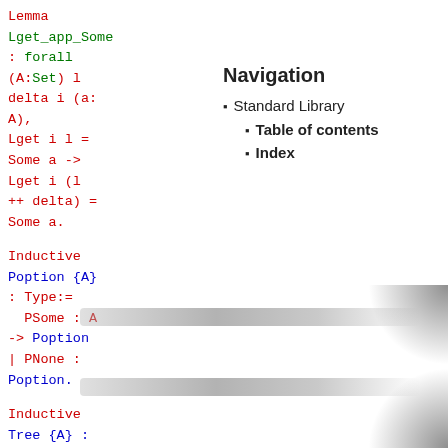Navigation
Standard Library
Table of contents
Index